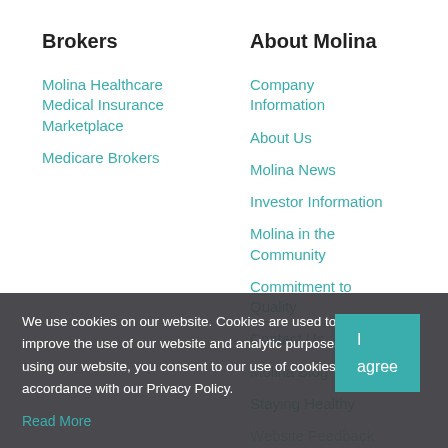Brokers
Molina Healthcare Medical Insurance Marketplace
Medicare Brokers
About Molina
Company Information
About Us
Molina News
Investor Information
Molina in the Community
Commitment to Quality
Contact Us
Molina Blog
Staying Healthy
Website Feedback
Careers
Reset Registration
Employee Password Reset
Report Fraud
We use cookies on our website. Cookies are used to improve the use of our website and analytic purposes. By using our website, you consent to our use of cookies in accordance with our Privacy Policy.
Read More
I agree